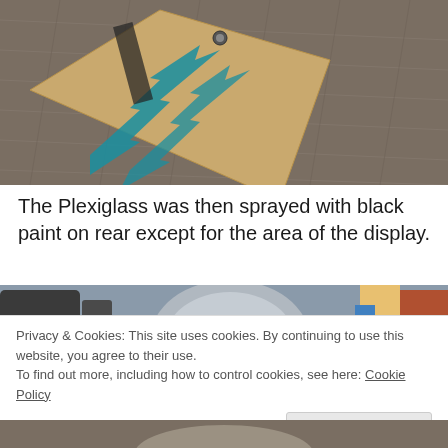[Figure (photo): Close-up photo of a cardboard piece with teal/blue painted markings resembling arrows or letters, resting on a woven fabric surface.]
The Plexiglass was then sprayed with black paint on rear except for the area of the display.
[Figure (photo): Partial photo showing round gray objects and dark items on a surface, partially obscured by a cookie consent banner.]
Privacy & Cookies: This site uses cookies. By continuing to use this website, you agree to their use.
To find out more, including how to control cookies, see here: Cookie Policy
[Figure (photo): Bottom strip of a photo, partially visible.]